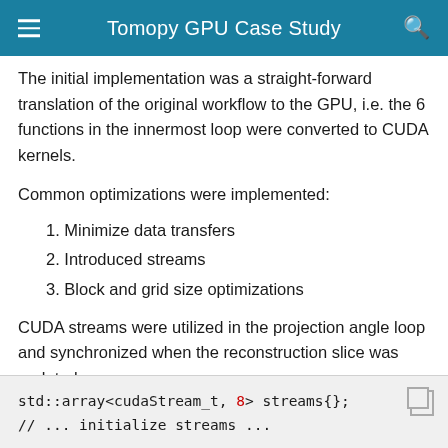Tomopy GPU Case Study
The initial implementation was a straight-forward translation of the original workflow to the GPU, i.e. the 6 functions in the innermost loop were converted to CUDA kernels.
Common optimizations were implemented:
1. Minimize data transfers
2. Introduced streams
3. Block and grid size optimizations
CUDA streams were utilized in the projection angle loop and synchronized when the reconstruction slice was updated, e.g.:
std::array<cudaStream_t, 8> streams{};
// ... initialize streams ...